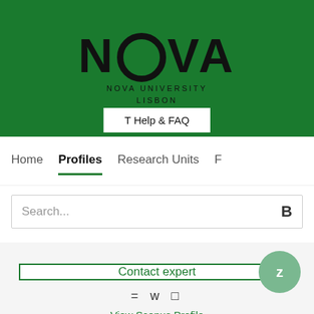[Figure (logo): NOVA University Lisbon logo — large black NOVA text with circular O shape, on green background, with 'NOVA UNIVERSITY LISBON' subtitle]
T Help & FAQ
Home   Profiles   Research Units   F
Search...
Contact expert
= w □
View Scopus Profile